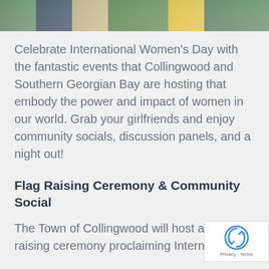[Figure (photo): Cropped photo strip showing a group of people outdoors, partially visible at the top of the page]
Celebrate International Women's Day with the fantastic events that Collingwood and Southern Georgian Bay are hosting that embody the power and impact of women in our world. Grab your girlfriends and enjoy community socials, discussion panels, and a night out!
Flag Raising Ceremony & Community Social
The Town of Collingwood will host a flag raising ceremony proclaiming International